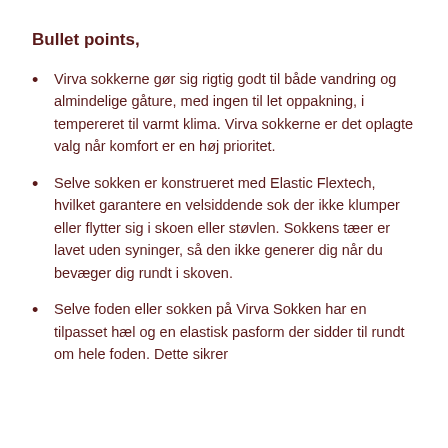Bullet points,
Virva sokkerne gør sig rigtig godt til både vandring og almindelige gåture, med ingen til let oppakning, i tempereret til varmt klima. Virva sokkerne er det oplagte valg når komfort er en høj prioritet.
Selve sokken er konstrueret med Elastic Flextech, hvilket garantere en velsiddende sok der ikke klumper eller flytter sig i skoen eller støvlen. Sokkens tæer er lavet uden syninger, så den ikke generer dig når du bevæger dig rundt i skoven.
Selve foden eller sokken på Virva Sokken har en tilpasset hæl og en elastisk pasform der sidder til rundt om hele foden. Dette sikrer